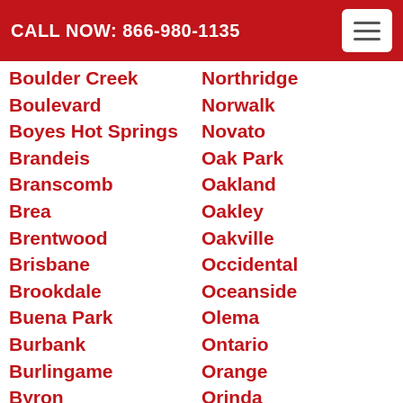CALL NOW: 866-980-1135
Boulder Creek
Boulevard
Boyes Hot Springs
Brandeis
Branscomb
Brea
Brentwood
Brisbane
Brookdale
Buena Park
Burbank
Burlingame
Byron
Calabasas
Calistoga
Calpella
Northridge
Norwalk
Novato
Oak Park
Oakland
Oakley
Oakville
Occidental
Oceanside
Olema
Ontario
Orange
Orinda
Oxnard
Pacific Grove
Pacific Palisades